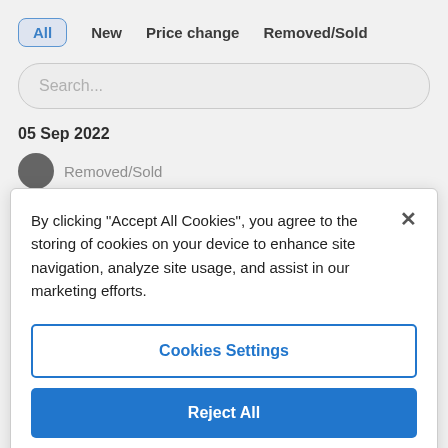[Figure (screenshot): App UI showing tab navigation bar with All, New, Price change, Removed/Sold tabs; a Search text input; a date label 05 Sep 2022; and a partially visible Removed/Sold row with a circle icon.]
By clicking “Accept All Cookies”, you agree to the storing of cookies on your device to enhance site navigation, analyze site usage, and assist in our marketing efforts.
Cookies Settings
Reject All
Accept All Cookies